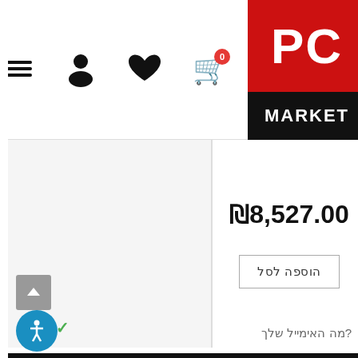PC Market website header with cart (0), heart, person icons, hamburger menu, and PC MARKET logo
₪8,527.00
הוספה לסל
מצטרפים עכשיו למועדון הלקוחות ונהנים מהטבות בלעדיות.
מה האימייל שלך?